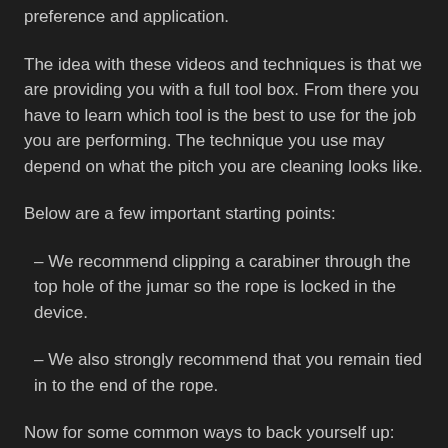preference and application.
The idea with these videos and techniques is that we are providing you with a full tool box. From there you have to learn which tool is the best to use for the job you are performing. The technique you use may depend on what the pitch you are cleaning looks like.
Below are a few important starting points:
– We recommend clipping a carabiner through the top hole of the jumar so the rope is locked in the device.
– We also strongly recommend that you remain tied in to the end of the rope.
Now for some common ways to back yourself up: